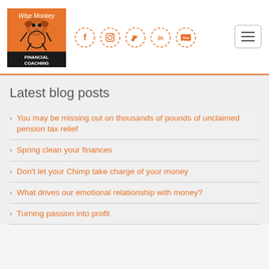[Figure (logo): Wise Monkey Financial Coaching logo - orange square with monkey illustration and black banner reading FINANCIAL COACHING]
[Figure (infographic): Row of 5 social media icons (Facebook, Instagram, Twitter, LinkedIn, YouTube) in orange dashed circles]
[Figure (other): Hamburger menu button - three horizontal lines in rounded rectangle]
Latest blog posts
You may be missing out on thousands of pounds of unclaimed pension tax relief
Spring clean your finances
Don't let your Chimp take charge of your money
What drives our emotional relationship with money?
Turning passion into profit